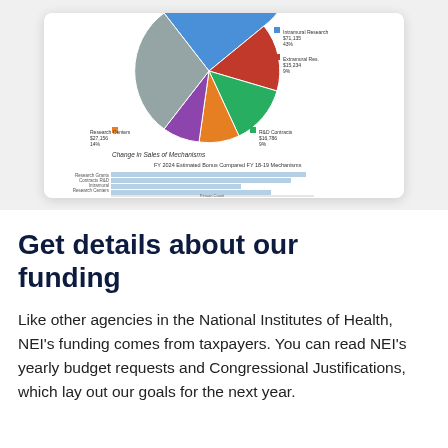[Figure (other): Partial view of a document card showing a pie chart at top and a horizontal bar chart below it with axis labels and figure caption, representing NEI funding data.]
Get details about our funding
Like other agencies in the National Institutes of Health, NEI's funding comes from taxpayers. You can read NEI's yearly budget requests and Congressional Justifications, which lay out our goals for the next year.